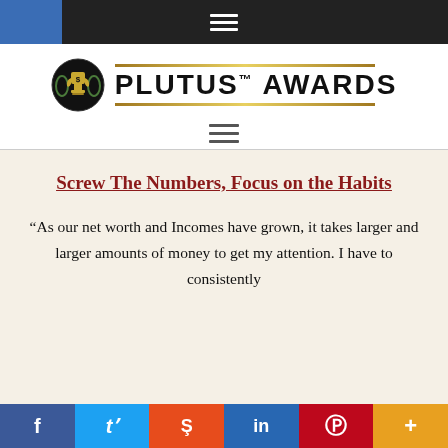Plutus Awards navigation header
[Figure (logo): Plutus Awards logo with trophy icon and gold decorative lines, text: PLUTUS™ AWARDS]
Screw The Numbers, Focus on the Habits
“As our net worth and Incomes have grown, it takes larger and larger amounts of money to get my attention. I have to consistently
Social share bar: f (Facebook), Twitter, Reddit, in (LinkedIn), Pinterest, More